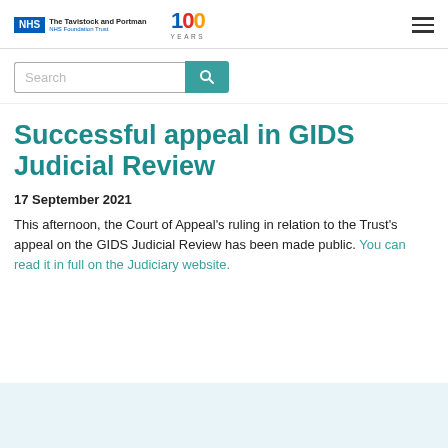NHS The Tavistock and Portman NHS Foundation Trust | 100 YEARS
[Figure (logo): NHS The Tavistock and Portman NHS Foundation Trust logo and 100 Years centenary logo, with hamburger menu icon]
Search
Successful appeal in GIDS Judicial Review
17 September 2021
This afternoon, the Court of Appeal's ruling in relation to the Trust's appeal on the GIDS Judicial Review has been made public. You can read it in full on the Judiciary website.